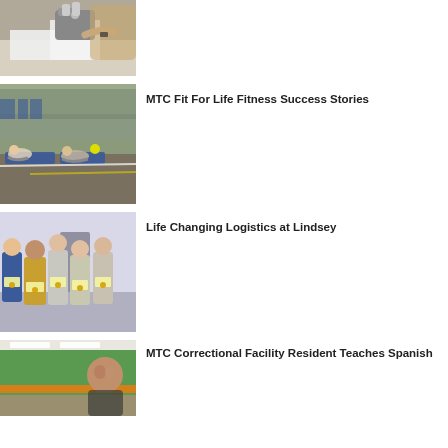[Figure (photo): Person at a sewing machine with white fabric]
[Figure (photo): People doing sit-ups/exercises on blue mats in a gym facility]
MTC Fit For Life Fitness Success Stories
[Figure (photo): Group of men holding certificates/diplomas in a correctional facility]
Life Changing Logistics at Lindsey
[Figure (photo): Person in a green-walled room, MTC correctional facility]
MTC Correctional Facility Resident Teaches Spanish